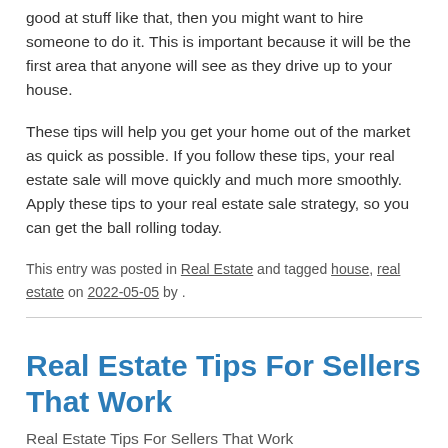good at stuff like that, then you might want to hire someone to do it. This is important because it will be the first area that anyone will see as they drive up to your house.
These tips will help you get your home out of the market as quick as possible. If you follow these tips, your real estate sale will move quickly and much more smoothly. Apply these tips to your real estate sale strategy, so you can get the ball rolling today.
This entry was posted in Real Estate and tagged house, real estate on 2022-05-05 by .
Real Estate Tips For Sellers That Work
Real Estate Tips For Sellers That Work